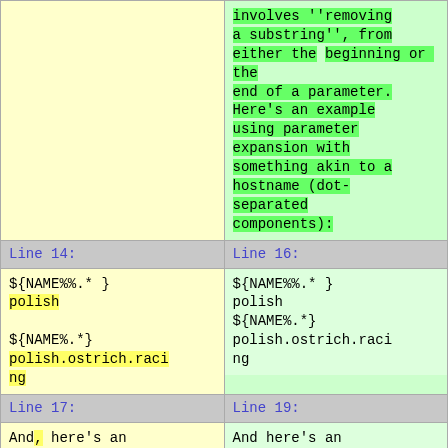| (empty / yellow) | involves ''removing a substring'', from either the beginning or the end of a parameter. Here's an example using parameter expansion with something akin to a hostname (dot-separated components): |
| Line 14: | Line 16: |
| ${NAME%%.* }
polish

${NAME%.*}
polish.ostrich.racing | ${NAME%%.* }
polish
${NAME%.*}
polish.ostrich.racing |
| Line 17: | Line 19: |
| And, here's an
example of the | And here's an
example of the
parameter |